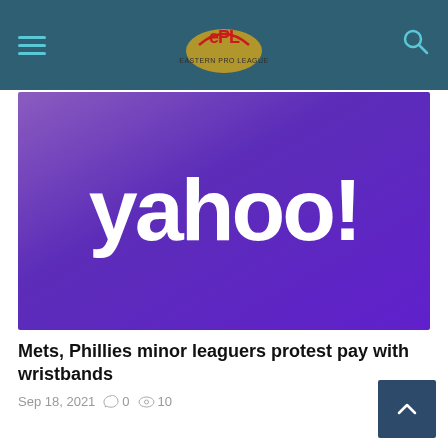Navigation bar with hamburger menu, site logo, and search icon
[Figure (logo): Yahoo! logo on purple gradient background]
Mets, Phillies minor leaguers protest pay with wristbands
Sep 18, 2021  0  10